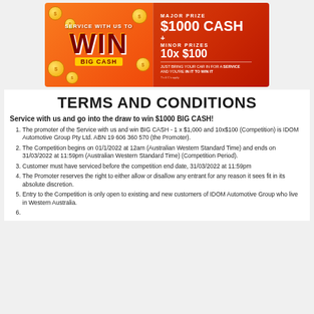[Figure (infographic): Orange/red banner advertisement showing 'Service with us to WIN BIG CASH' on the left side with coin decorations, and on the right side 'MAJOR PRIZE $1000 CASH + MINOR PRIZES 10x $100' with tagline 'Just bring your car in for a SERVICE and you're IN IT TO WIN IT']
TERMS AND CONDITIONS
Service with us and go into the draw to win $1000 BIG CASH!
The promoter of the Service with us and win BIG CASH - 1 x $1,000 and 10x$100 (Competition) is IDOM Automotive Group Pty Ltd. ABN 19 606 360 570 (the Promoter).
The Competition begins on 01/1/2022 at 12am (Australian Western Standard Time) and ends on 31/03/2022 at 11:59pm (Australian Western Standard Time) (Competition Period).
Customer must have serviced before the competition end date, 31/03/2022 at 11:59pm
The Promoter reserves the right to either allow or disallow any entrant for any reason it sees fit in its absolute discretion.
Entry to the Competition is only open to existing and new customers of IDOM Automotive Group who live in Western Australia.